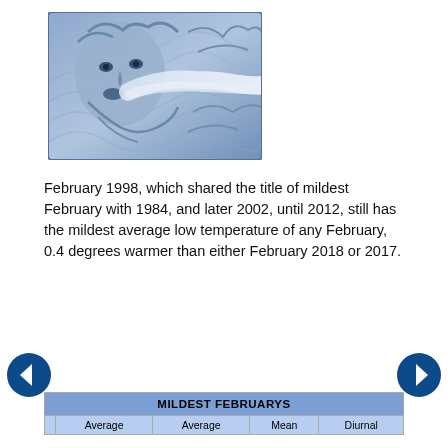[Figure (illustration): Stylized blue-toned illustration of a wind god or face blowing wind, with swirling hair and breath forming a cloud.]
February 1998, which shared the title of mildest February with 1984, and later 2002, until 2012, still has the mildest average low temperature of any February, 0.4 degrees warmer than either February 2018 or 2017.
|  | Average | Average | Mean | Diurnal |
| --- | --- | --- | --- | --- |
| MILDEST FEBRUARYS |  |  |  |  |